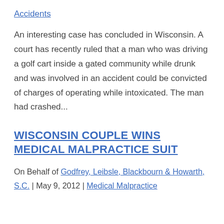Accidents
An interesting case has concluded in Wisconsin. A court has recently ruled that a man who was driving a golf cart inside a gated community while drunk and was involved in an accident could be convicted of charges of operating while intoxicated. The man had crashed...
WISCONSIN COUPLE WINS MEDICAL MALPRACTICE SUIT
On Behalf of Godfrey, Leibsle, Blackbourn & Howarth, S.C. | May 9, 2012 | Medical Malpractice